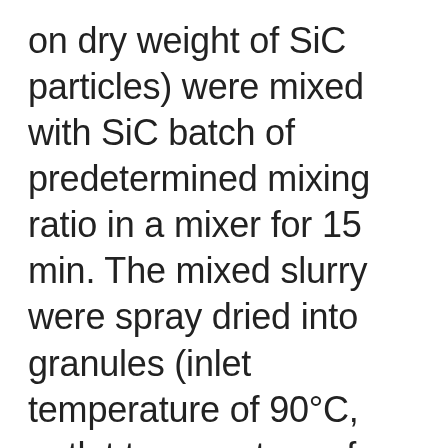on dry weight of SiC particles) were mixed with SiC batch of predetermined mixing ratio in a mixer for 15 min. The mixed slurry were spray dried into granules (inlet temperature of 90°C, outlet temperature of 60°C, feed rpm of 16, disk rpm of 900). The prepared granules were cold-isostatically-pressed (Dr. CIP, Kobelco